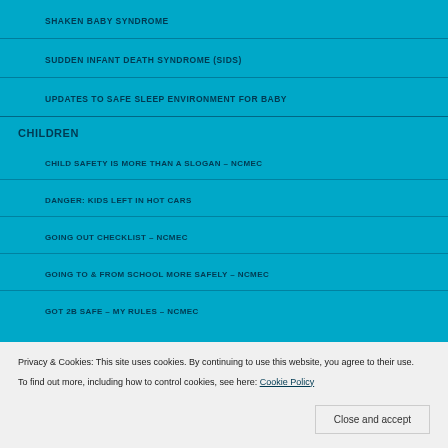SHAKEN BABY SYNDROME
SUDDEN INFANT DEATH SYNDROME (SIDS)
UPDATES TO SAFE SLEEP ENVIRONMENT FOR BABY
CHILDREN
CHILD SAFETY IS MORE THAN A SLOGAN – NCMEC
DANGER: KIDS LEFT IN HOT CARS
GOING OUT CHECKLIST – NCMEC
GOING TO & FROM SCHOOL MORE SAFELY – NCMEC
GOT 2B SAFE – MY RULES – NCMEC
Privacy & Cookies: This site uses cookies. By continuing to use this website, you agree to their use.
To find out more, including how to control cookies, see here: Cookie Policy
C
EFFECTIVE COMMUNICATION – ENGAGED LISTENER